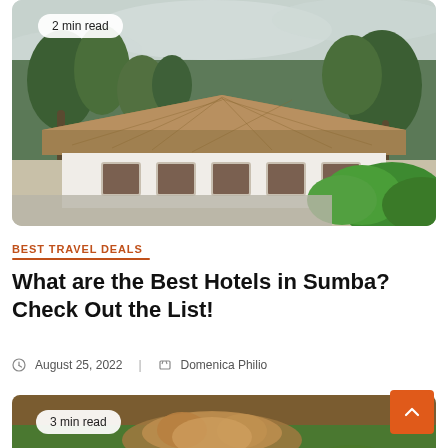[Figure (photo): A tropical resort bungalow with thatched roof, white walls, surrounded by lush green tropical plants and trees, cloudy sky. Badge overlay reads '2 min read'.]
BEST TRAVEL DEALS
What are the Best Hotels in Sumba? Check Out the List!
August 25, 2022   Domenica Philio
[Figure (photo): A close-up of a small furry animal (possibly a Yorkshire Terrier) in green grass. Badge overlay reads '3 min read'.]